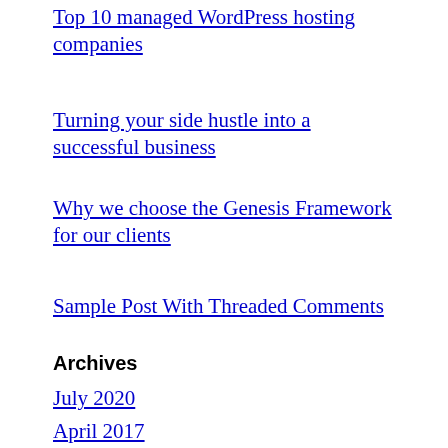Top 10 managed WordPress hosting companies
Turning your side hustle into a successful business
Why we choose the Genesis Framework for our clients
Sample Post With Threaded Comments
Archives
July 2020
April 2017